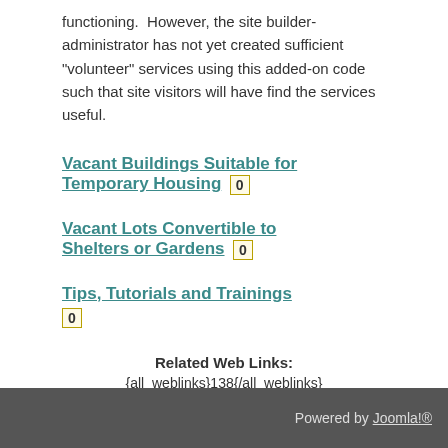functioning.  However, the site builder-administrator has not yet created sufficient "volunteer" services using this added-on code such that site visitors will have find the services useful.
Vacant Buildings Suitable for Temporary Housing 0
Vacant Lots Convertible to Shelters or Gardens 0
Tips, Tutorials and Trainings 0
Related Web Links:
{all_weblinks}138{/all_weblinks}
Article Categories:
Powered by Joomla!®